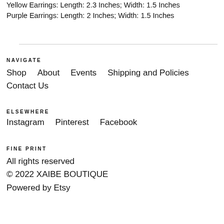Yellow Earrings: Length: 2.3 Inches; Width: 1.5 Inches
Purple Earrings: Length: 2 Inches; Width: 1.5 Inches
NAVIGATE
Shop    About    Events    Shipping and Policies    Contact Us
ELSEWHERE
Instagram    Pinterest    Facebook
FINE PRINT
All rights reserved
© 2022 XAIBE BOUTIQUE
Powered by Etsy